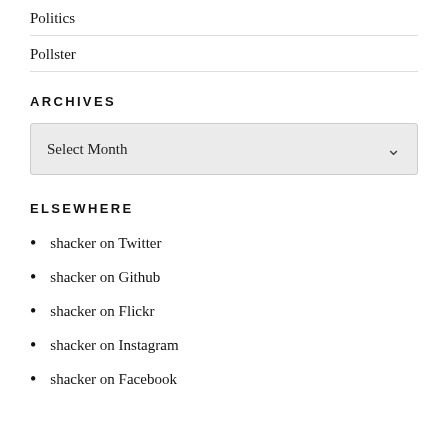Politics
Pollster
ARCHIVES
Select Month
ELSEWHERE
shacker on Twitter
shacker on Github
shacker on Flickr
shacker on Instagram
shacker on Facebook